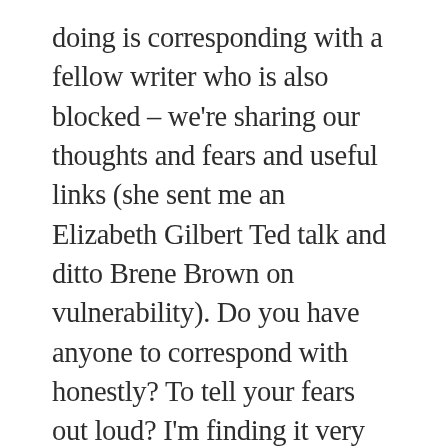doing is corresponding with a fellow writer who is also blocked – we're sharing our thoughts and fears and useful links (she sent me an Elizabeth Gilbert Ted talk and ditto Brene Brown on vulnerability). Do you have anyone to correspond with honestly? To tell your fears out loud? I'm finding it very helpful – I understand myself better as I write to her, and her fears are so familiar it gives me perspective. And she listens and understands and doesn't judge. Feel free to email me if you think that would help. I know we don't know each other but we're